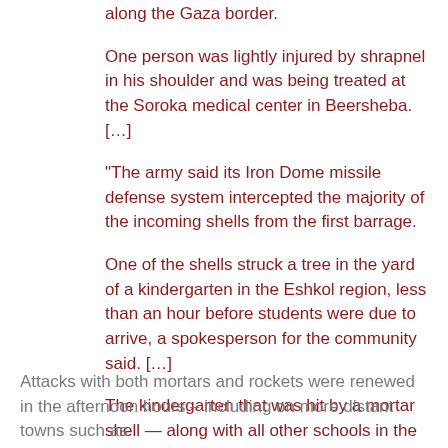along the Gaza border.
One person was lightly injured by shrapnel in his shoulder and was being treated at the Soroka medical center in Beersheba. […]
“The army said its Iron Dome missile defense system intercepted the majority of the incoming shells from the first barrage.
One of the shells struck a tree in the yard of a kindergarten in the Eshkol region, less than an hour before students were due to arrive, a spokesperson for the community said. […]
The kindergarten that was hit by a mortar shell — along with all other schools in the area — opened as usual on Tuesday, despite the attack.”
Attacks with both mortars and rockets were renewed in the afternoon hours – including on more distant towns such as